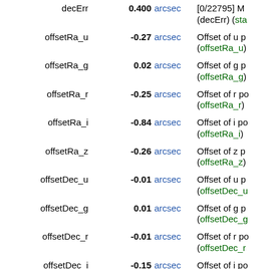| Name | Value | Unit | Description |
| --- | --- | --- | --- |
| decErr | 0.400 | arcsec | [0/22795] M (decErr) (sta |
| offsetRa_u | -0.27 | arcsec | Offset of u p (offsetRa_u) |
| offsetRa_g | 0.02 | arcsec | Offset of g p (offsetRa_g) |
| offsetRa_r | -0.25 | arcsec | Offset of r po (offsetRa_r) |
| offsetRa_i | -0.84 | arcsec | Offset of i po (offsetRa_i) |
| offsetRa_z | -0.26 | arcsec | Offset of z p (offsetRa_z) |
| offsetDec_u | -0.01 | arcsec | Offset of u p (offsetDec_u |
| offsetDec_g | 0.01 | arcsec | Offset of g p (offsetDec_g |
| offsetDec_r | -0.01 | arcsec | Offset of r po (offsetDec_r |
| offsetDec_i | -0.15 | arcsec | Offset of i po (offsetDec_i |
| offsetDec_z | -0.01 | arcsec | Offset of z p (offsetDec_z |
| parentID | 1237680271504113700 |  | Pointer to |